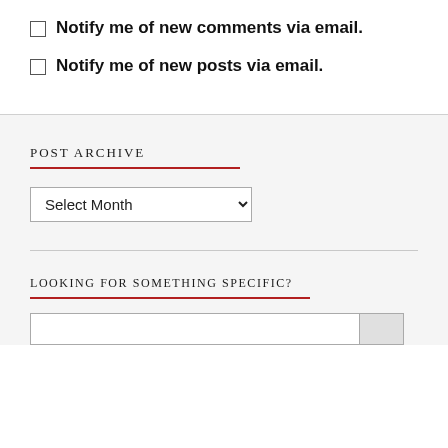Notify me of new comments via email.
Notify me of new posts via email.
POST ARCHIVE
Select Month
LOOKING FOR SOMETHING SPECIFIC?